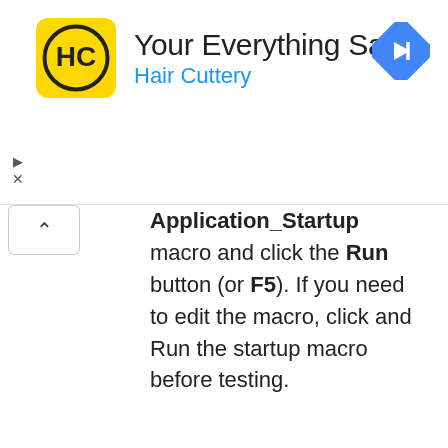[Figure (logo): Hair Cuttery advertisement banner with HC logo in yellow square, text 'Your Everything Salon' and 'Hair Cuttery' in blue, and a blue navigation/directions diamond icon on the right]
Application_Startup macro and click the Run button (or F5). If you need to edit the macro, click and Run the startup macro before testing.
What about the Forms Administrator utility?
In 2000, Microsoft